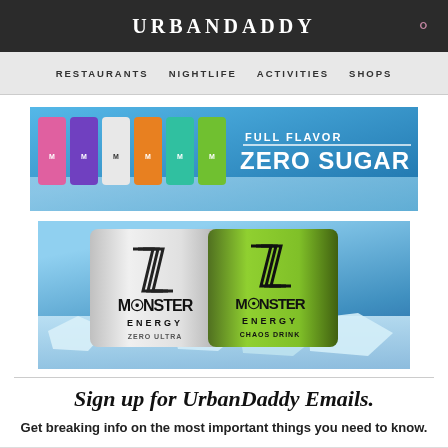URBANDADDY
RESTAURANTS
NIGHTLIFE
ACTIVITIES
SHOPS
[Figure (photo): Monster Energy drink advertisement banner: colorful cans on ice with text FULL FLAVOR ZERO SUGAR on blue background]
[Figure (photo): Monster Energy Zero Ultra and green Monster Energy cans on crushed ice with splashing water background]
Sign up for UrbanDaddy Emails.
Get breaking info on the most important things you need to know.
Email Address
SIGN UP